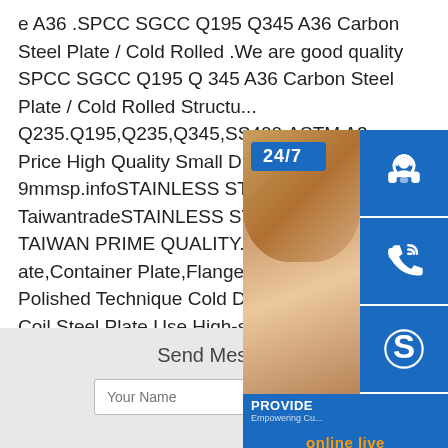e A36 .SPCC SGCC Q195 Q345 A36 Carbon Steel Plate / Cold Rolled .We are good quality SPCC SGCC Q195 Q345 A36 Carbon Steel Plate / Cold Rolled Structu... Q235.Q195,Q235,Q345,SS400,ASTM A3... w Price High Quality Small Diameter 30... Tube 9mmsp.infoSTAINLESS STEEL C... TaiwantradeSTAINLESS STEEL COIL A... NA TAIWAN PRIME QUALITY.Spec.App... ate,Container Plate,Flange Plate,Ship Pl... tment Polished Technique Cold Drawn,H... teel Coil,Steel Plate Use High-strength S... Steel,Wear Resistant Steel
[Figure (screenshot): Customer service overlay widget showing a woman with headset, 24/7 badge, contact icon buttons (headset, phone, Skype), PROVIDE Empowering Customers bar, and online live button]
Send Message
Your Name